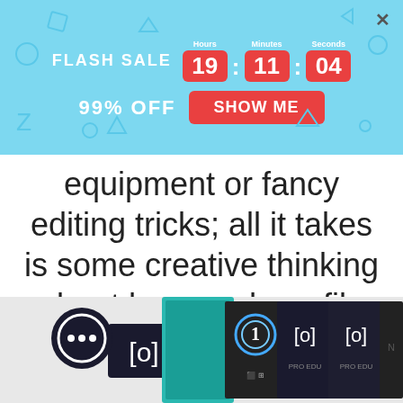[Figure (infographic): Flash sale countdown banner with timer showing 19:11:04 (Hours, Minutes, Seconds), 99% OFF label, and SHOW ME button, with decorative geometric shapes on light blue background]
equipment or fancy editing tricks; all it takes is some creative thinking about how each profile might affect different scenes in order to get great results every time!
[Figure (photo): Product boxes for camera/video software showing multiple editions including Pro Edu versions, with a chat bubble icon overlay on the left]